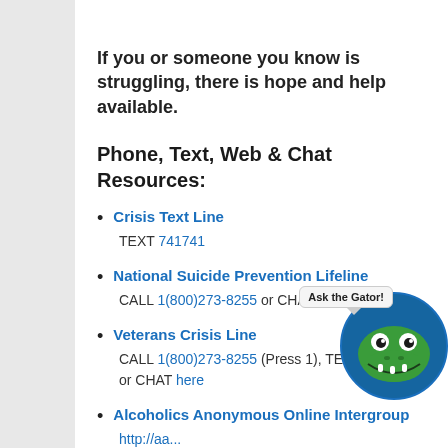If you or someone you know is struggling, there is hope and help available.
Phone, Text, Web & Chat Resources:
Crisis Text Line — TEXT 741741
National Suicide Prevention Lifeline — CALL 1(800)273-8255 or CHAT here
Veterans Crisis Line — CALL 1(800)273-8255 (Press 1), TEX ...5, or CHAT here
Alcoholics Anonymous Online Intergroup — http://aa...